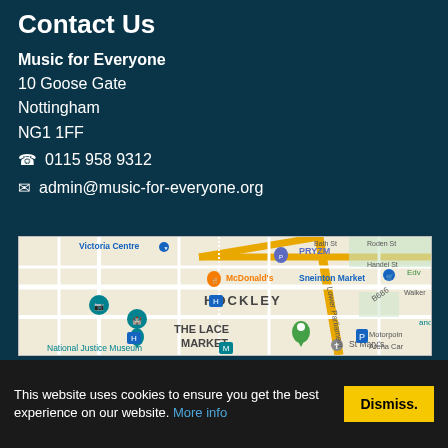Contact Us
Music for Everyone
10 Goose Gate
Nottingham
NG1 1FF
☎ 0115 958 9312
✉ admin@music-for-everyone.org
[Figure (map): Google Maps showing Hockley area of Nottingham with landmarks: Victoria Centre, PRYZM, McDonald's, Sneinton Market, The Lace Market, National Justice Museum, St Mary's, Motorpoint Arena Car Park, B686 road, Lower Parliament Street. Green pin marker visible in The Lace Market area.]
This website uses cookies to ensure you get the best experience on our website. More info
Dismiss.